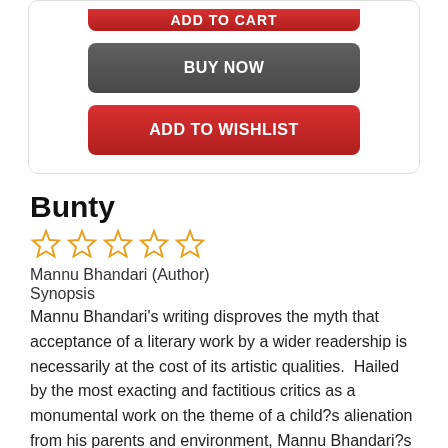[Figure (screenshot): Partial top section showing red ADD TO CART button (partially cropped)]
BUY NOW
ADD TO WISHLIST
Bunty
[Figure (other): Five empty star rating icons in orange/yellow outline]
Mannu Bhandari (Author)
Synopsis
Mannu Bhandari's writing disproves the myth that acceptance of a literary work by a wider readership is necessarily at the cost of its artistic qualities.  Hailed by the most exacting and factitious critics as a monumental work on the theme of a child?s alienation from his parents and environment, Mannu Bhandari?s Bunty has already run into several editions and is still one of the ten bestsellers in